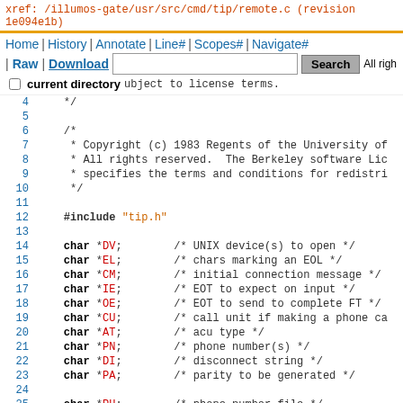xref: /illumos-gate/usr/src/cmd/tip/remote.c (revision 1e094e1b)
Home | History | Annotate | Line# | Scopes# | Navigate# | Raw | Download  [Search]  current directory
Source code lines 1-26 of remote.c including copyright, includes, and char variable declarations.